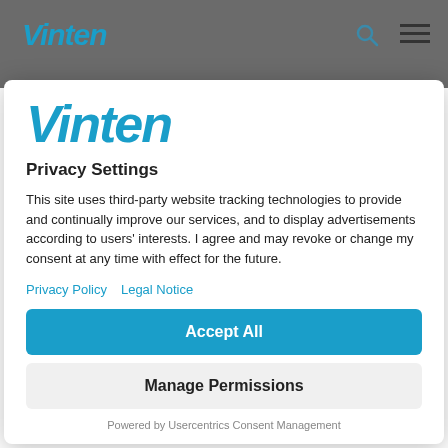Vinten
[Figure (logo): Vinten logo in blue italic bold font]
Privacy Settings
This site uses third-party website tracking technologies to provide and continually improve our services, and to display advertisements according to users' interests. I agree and may revoke or change my consent at any time with effect for the future.
Privacy Policy   Legal Notice
Accept All
Manage Permissions
Powered by Usercentrics Consent Management